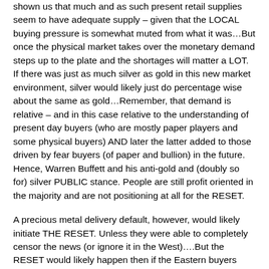shown us that much and as such present retail supplies seem to have adequate supply – given that the LOCAL buying pressure is somewhat muted from what it was…But once the physical market takes over the monetary demand steps up to the plate and the shortages will matter a LOT. If there was just as much silver as gold in this new market environment, silver would likely just do percentage wise about the same as gold…Remember, that demand is relative – and in this case relative to the understanding of present day buyers (who are mostly paper players and some physical buyers) AND later the latter added to those driven by fear buyers (of paper and bullion) in the future. Hence, Warren Buffett and his anti-gold and (doubly so for) silver PUBLIC stance. People are still profit oriented in the majority and are not positioning at all for the RESET.
A precious metal delivery default, however, would likely initiate THE RESET. Unless they were able to completely censor the news (or ignore it in the West)….But the RESET would likely happen then if the Eastern buyers knew that the default defined the time that no more metal would be forthcoming from the West. BOOM!
...